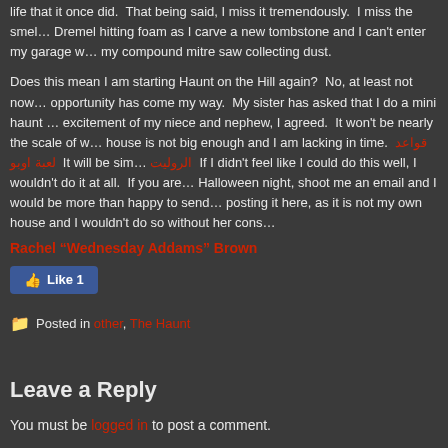life that it once did.  That being said, I miss it tremendously.  I miss the smell of Dremel hitting foam as I carve a new tombstone and I can't enter my garage without seeing my compound mitre saw collecting dust.
Does this mean I am starting Haunt on the Hill again?  No, at least not now.  An opportunity has come my way.  My sister has asked that I do a mini haunt for the excitement of my niece and nephew, I agreed.  It won't be nearly the scale of what I did, house is not big enough and I am lacking in time. قواعد لعبة اوبو  It will be sim... الروليت  If I didn't feel like I could do this well, I wouldn't do it at all.  If you are visiting Halloween night, shoot me an email and I would be more than happy to send... posting it here, as it is not my own house and I wouldn't do so without her cons...
Rachel “Wednesday Addams” Brown
[Figure (other): Facebook Like button showing Like 1]
Posted in other, The Haunt
Leave a Reply
You must be logged in to post a comment.